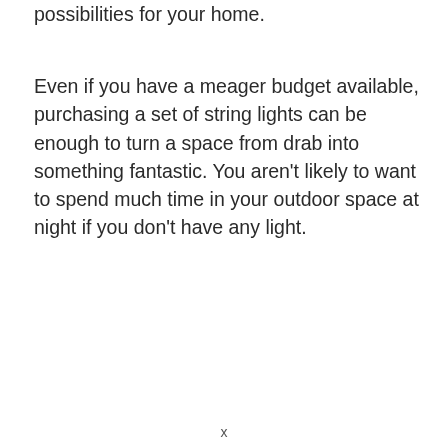possibilities for your home.
Even if you have a meager budget available, purchasing a set of string lights can be enough to turn a space from drab into something fantastic. You aren't likely to want to spend much time in your outdoor space at night if you don't have any light.
x